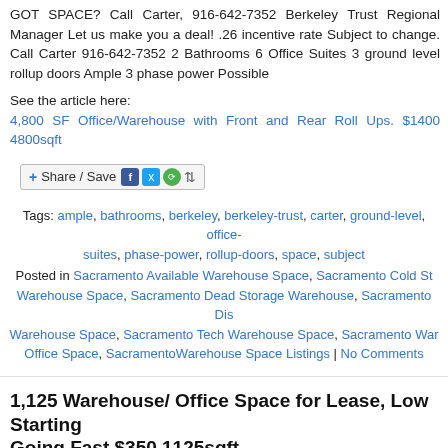GOT SPACE? Call Carter, 916-642-7352 Berkeley Trust Regional Manager Let us make you a deal! .26 incentive rate Subject to change. Call Carter 916-642-7352 2 Bathrooms 6 Office Suites 3 ground level rollup doors Ample 3 phase power Possible
See the article here:
4,800 SF Office/Warehouse with Front and Rear Roll Ups. $1400 4800sqft
[Figure (other): Share / Save social sharing button bar with Facebook, Twitter, Google+ and dropdown icons]
Tags: ample, bathrooms, berkeley, berkeley-trust, carter, ground-level, office-suites, phase-power, rollup-doors, space, subject
Posted in Sacramento Available Warehouse Space, Sacramento Cold St... Warehouse Space, Sacramento Dead Storage Warehouse, Sacramento Dis... Warehouse Space, Sacramento Tech Warehouse Space, Sacramento War... Office Space, SacramentoWarehouse Space Listings | No Comments
1,125 Warehouse/ Office Space for Lease, Low Starting... Going Fast $350 1125sqft
Thursday, August 30th, 2012
GOT SPACE? Call Carter, Carter Latimer 916-642-7352 Berkeley Trust Regional Manager Specs: 12 foot roll up door 3 Phase 150 amps POWER! Nice Office Space! Great Rates! Professional and Courteous Onsite Managers! Busy Commercial Area! Heated